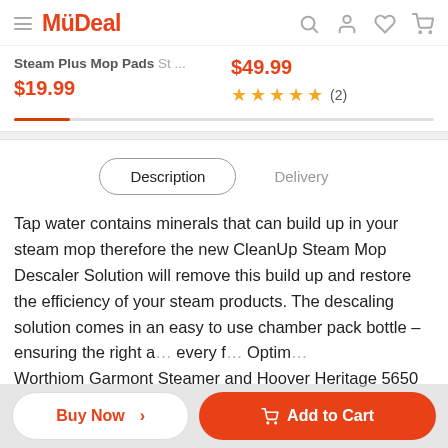MyDeal
Steam Plus Mop Pads St ... $19.99 | $49.99 ★★★★★ (2)
Description | Delivery
Tap water contains minerals that can build up in your steam mop therefore the new CleanUp Steam Mop Descaler Solution will remove this build up and restore the efficiency of your steam products. The descaling solution comes in an easy to use chamber pack bottle – ensuring the right a... every f... Optim... Worthiom Garmont Steamer and Hoover Heritage 5650
Buy Now > | Add to Cart